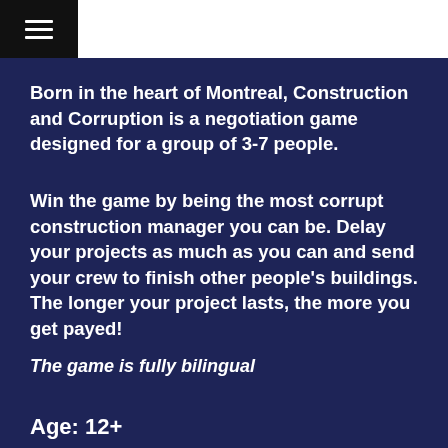☰
Born in the heart of Montreal, Construction and Corruption is a negotiation game designed for a group of 3-7 people.
Win the game by being the most corrupt construction manager you can be. Delay your projects as much as you can and send your crew to finish other people's buildings. The longer your project lasts, the more you get payed!
The game is fully bilingual
Age: 12+